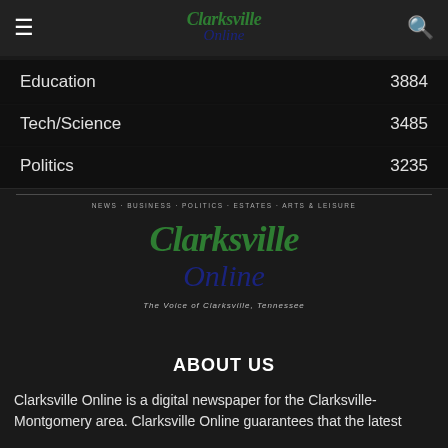Clarksville Online — header navigation bar
Education 3884
Tech/Science 3485
Politics 3235
[Figure (logo): Clarksville Online logo — center section with tagline 'The Voice of Clarksville, Tennessee' and 'NEWS · BUSINESS · POLITICS · ESTATES · ARTS & LEISURE']
ABOUT US
Clarksville Online is a digital newspaper for the Clarksville-Montgomery County area. Clarksville Online guarantees that the latest